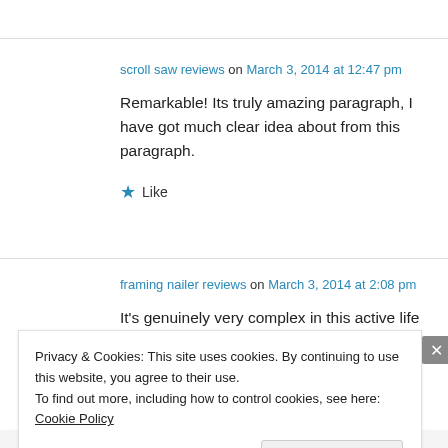scroll saw reviews on March 3, 2014 at 12:47 pm
Remarkable! Its truly amazing paragraph, I have got much clear idea about from this paragraph.
★ Like
framing nailer reviews on March 3, 2014 at 2:08 pm
It's genuinely very complex in this active life to
Privacy & Cookies: This site uses cookies. By continuing to use this website, you agree to their use.
To find out more, including how to control cookies, see here: Cookie Policy
Close and accept